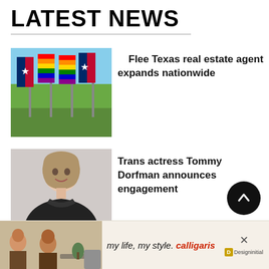LATEST NEWS
[Figure (photo): Rainbow pride flags and Texas star flags waving on a sunny day]
Flee Texas real estate agent expands nationwide
[Figure (photo): Trans actress Tommy Dorfman headshot in black outfit]
Trans actress Tommy Dorfman announces engagement
[Figure (photo): Brisbane all-girls school building exterior with a small inset photo of a young girl]
Brisbane all-girls school rejects 12-year-old transgender girl
[Figure (photo): Advertisement banner: my life, my style. calligaris | Designinitial]
my life, my style. | calligaris